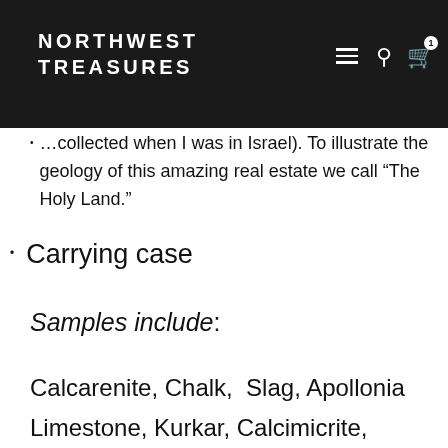NORTHWEST TREASURES
Samples from the land of Israel (actually collected when I was in Israel). To illustrate the geology of this amazing real estate we call “The Holy Land.”
Carrying case
Samples include:
Calcarenite, Chalk, Slag, Apollonia Limestone, Kurkar, Calcimicrite, Shale/Slate, Basalt, Flint, Chert, Green Glass, Byzantine Pottery Shard, Basalt Lava, Pumice, Salt, Sandstone, Eilat Stone, Mountain Snail, Modern Sea Shell, Fossil Shark Tooth, Corundum, Banded Travertine, Banded Agate, Marble, Serpentine, Ferrous Schist,